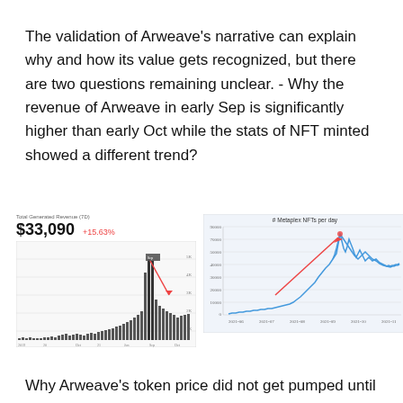The validation of Arweave's narrative can explain why and how its value gets recognized, but there are two questions remaining unclear. - Why the revenue of Arweave in early Sep is significantly higher than early Oct while the stats of NFT minted showed a different trend?
[Figure (bar-chart): Bar chart showing Arweave total generated revenue over time with a spike in early Sep. Value shown: $33,090 with +15.63%]
[Figure (line-chart): Line chart showing number of Metaplex NFTs per day from 2021-06 to 2021-11, with a sharp upward trend from 2021-08 onward, peaking around 2021-10. Red arrow annotation pointing to peak.]
Why Arweave's token price did not get pumped until